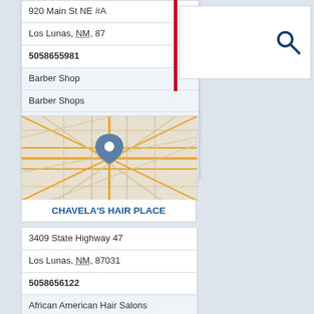920 Main St NE #A
Los Lunas, NM, 87...
5058655981
Barber Shop
Barber Shops
Barbers
Beauty Salon
Beauty Salons
[Figure (map): Map showing location pin for Chavela's Hair Place in Los Lunas, NM area with road network in orange/yellow on light background]
CHAVELA'S HAIR PLACE
3409 State Highway 47
Los Lunas, NM, 87031
5058656122
African American Hair Salons
Barber Shop
Barber Shops
Beauty Salon
Beauty Salons